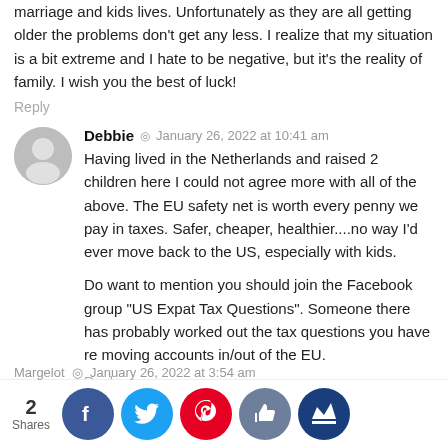marriage and kids lives. Unfortunately as they are all getting older the problems don't get any less. I realize that my situation is a bit extreme and I hate to be negative, but it's the reality of family. I wish you the best of luck!
Reply
Debbie  ◎  January 26, 2022 at 10:41 am
Having lived in the Netherlands and raised 2 children here I could not agree more with all of the above. The EU safety net is worth every penny we pay in taxes. Safer, cheaper, healthier....no way I'd ever move back to the US, especially with kids.
Do want to mention you should join the Facebook group "US Expat Tax Questions". Someone there has probably worked out the tax questions you have re moving accounts in/out of the EU.
Reply
Jane  ◎  January 27, 2022 at 11:50 am
Hi Debbie! Thanks for the Facebook group suggestion!
[Figure (infographic): Social sharing bar with share count (2 Shares) and circular social media buttons: Facebook (blue), Twitter (cyan), Pinterest (red), thumbs-up (gray-blue), and a crown icon (dark blue)]
Margelot  ◎  January 26, 2022 at 3:54 am